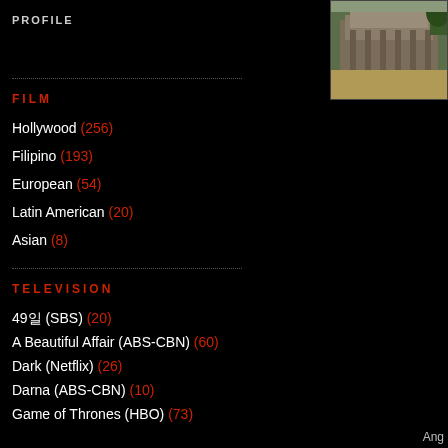PROFILE
[Figure (photo): Outdoor photo of an ancient temple complex with stone architecture and open grounds, likely Angkor Wat]
FILM
Hollywood (256)
Filipino (193)
European (54)
Latin American (20)
Asian (8)
TELEVISION
49일 (SBS) (20)
A Beautiful Affair (ABS-CBN) (60)
Dark (Netflix) (26)
Darna (ABS-CBN) (10)
Game of Thrones (HBO) (73)
Heartstopper (Netflix) (8)
Hindsight (VH1) (10)
How to Get Away with Murder (ABC) (45)
Ang